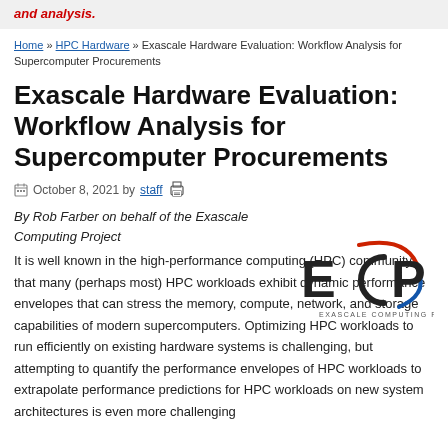and analysis.
Home » HPC Hardware » Exascale Hardware Evaluation: Workflow Analysis for Supercomputer Procurements
Exascale Hardware Evaluation: Workflow Analysis for Supercomputer Procurements
October 8, 2021 by staff
By Rob Farber on behalf of the Exascale Computing Project
[Figure (logo): ECP Exascale Computing Project logo with stylized E(C)P letters and swoosh graphic]
It is well known in the high-performance computing (HPC) community that many (perhaps most) HPC workloads exhibit dynamic performance envelopes that can stress the memory, compute, network, and storage capabilities of modern supercomputers. Optimizing HPC workloads to run efficiently on existing hardware systems is challenging, but attempting to quantify the performance envelopes of HPC workloads to extrapolate performance predictions for HPC workloads on new system architectures is even more challenging